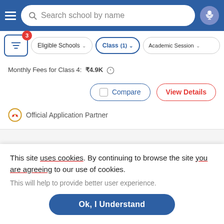Search school by name
Eligible Schools  Class (1)  Academic Session
Monthly Fees for Class 4: ₹4.9K
Compare  View Details
Official Application Partner
[Figure (screenshot): Gray placeholder card with heart/like badge showing 169]
This site uses cookies. By continuing to browse the site you are agreeing to our use of cookies.
This will help to provide better user experience.
Ok, I Understand